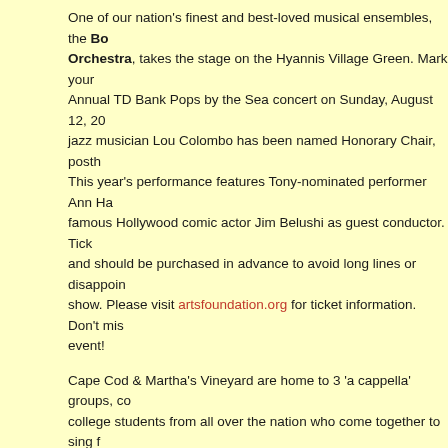One of our nation's finest and best-loved musical ensembles, the Boston Pops Orchestra, takes the stage on the Hyannis Village Green. Mark your calendars for the Annual TD Bank Pops by the Sea concert on Sunday, August 12, 20... jazz musician Lou Colombo has been named Honorary Chair, posthumously... This year's performance features Tony-nominated performer Ann Ha... famous Hollywood comic actor Jim Belushi as guest conductor. Tickets... and should be purchased in advance to avoid long lines or disappointment at the show. Please visit artsfoundation.org for ticket information. Don't miss this event!
Cape Cod & Martha's Vineyard are home to 3 'a cappella' groups, comprising college students from all over the nation who come together to sing for the summer in August (while enjoying the Cape Cod summer...). Cape Harmony is a female a cappella group; hear them weekly Tuesdays, Wednesdays, ... The Hyannis Sound, Cape Cod's all male group since 1994, have weekly shows Tuesdays, Thursdays and Fridays. Last, but certainly not least, Vineyard... college group now in its 20th season, performs weekly shows around... Mondays, Tuesdays, Thursdays and Fridays. These a cappella groups mostly perform indoors at churches, but do perform at some outdoor venues. In addition to their weekly performances, there are many special appearances. Visit the... for performance schedules.